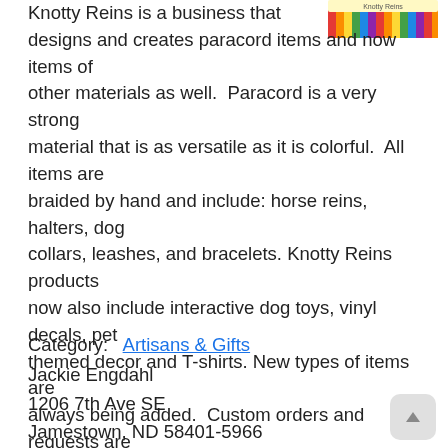[Figure (illustration): Colorful pencils/crayons image at top right, appears to be the Knotty Reins logo banner with rainbow colored vertical bars]
Knotty Reins is a business that designs and creates paracord items and now items of other materials as well. Paracord is a very strong material that is as versatile as it is colorful. All items are braided by hand and include: horse reins, halters, dog collars, leashes, and bracelets. Knotty Reins products now also include interactive dog toys, vinyl decals, pet themed decor and T-shirts. New types of items are always being added. Custom orders and requests are welcome.
Category:  Artisans & Gifts
Jackie Engdahl
1206 7th Ave SE
Jamestown, ND 58401-5966